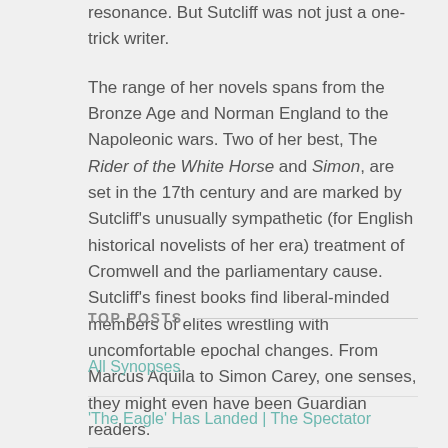resonance. But Sutcliff was not just a one-trick writer. The range of her novels spans from the Bronze Age and Norman England to the Napoleonic wars. Two of her best, The Rider of the White Horse and Simon, are set in the 17th century and are marked by Sutcliff's unusually sympathetic (for English historical novelists of her era) treatment of Cromwell and the parliamentary cause. Sutcliff's finest books find liberal-minded members of elites wrestling with uncomfortable epochal changes. From Marcus Aquila to Simon Carey, one senses, they might even have been Guardian readers.
TOP POSTS
All Synopses
'The Eagle' Has Landed | The Spectator